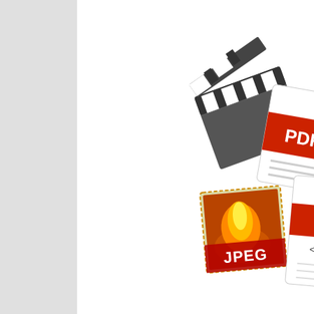[Figure (illustration): Illustration of file format icons: a film clapperboard, a PDF document, a JPEG photo, and an XML document, scattered together]
Component
The softw (PostgreS are the Ja framewor
In the follo
Scanning
OCR (Rec
Proof editi
Import √
Processin
Storage √
Publicatio